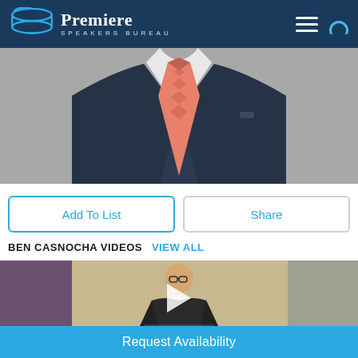Premiere Speakers Bureau
[Figure (photo): Cropped photo of a man in a dark navy suit with a salmon/coral patterned tie, gray background, torso only visible]
Add To List
Share
BEN CASNOCHA VIDEOS  VIEW ALL
[Figure (screenshot): Video thumbnail of Ben Casnocha speaking at a podium, wearing glasses and a dark jacket with white shirt, indoor venue setting, with a play button overlay]
Request Availability